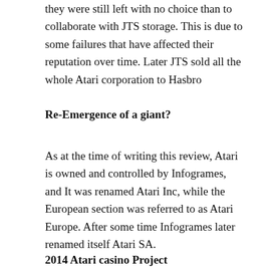they were still left with no choice than to collaborate with JTS storage. This is due to some failures that have affected their reputation over time. Later JTS sold all the whole Atari corporation to Hasbro
Re-Emergence of a giant?
As at the time of writing this review, Atari is owned and controlled by Infogrames, and It was renamed Atari Inc, while the European section was referred to as Atari Europe. After some time Infogrames later renamed itself Atari SA.
2014 Atari casino Project